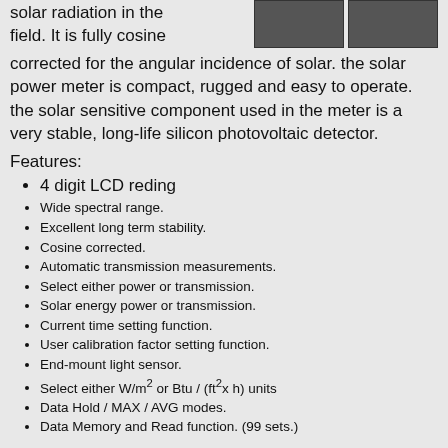solar radiation in the field. It is fully cosine corrected for the angular incidence of solar. the solar power meter is compact, rugged and easy to operate. the solar sensitive component used in the meter is a very stable, long-life silicon photovoltaic detector.
[Figure (photo): Two photos of solar power meter devices on dark background]
Features:
4 digit LCD reding
Wide spectral range.
Excellent long term stability.
Cosine corrected.
Automatic transmission measurements.
Select either power or transmission.
Solar energy power or transmission.
Current time setting function.
User calibration factor setting function.
End-mount light sensor.
Select either W/m² or Btu / (ft²x h) units
Data Hold / MAX / AVG modes.
Data Memory and Read function. (99 sets.)